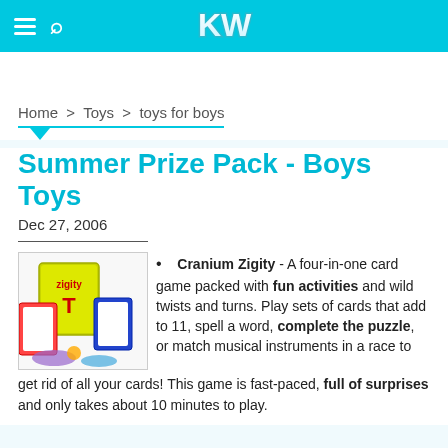KW
Home > Toys > toys for boys
Summer Prize Pack - Boys Toys
Dec 27, 2006
[Figure (photo): Product photo of Cranium Zigity card game box with cards and game pieces spread out]
Cranium Zigity - A four-in-one card game packed with fun activities and wild twists and turns. Play sets of cards that add to 11, spell a word, complete the puzzle, or match musical instruments in a race to get rid of all your cards! This game is fast-paced, full of surprises and only takes about 10 minutes to play.